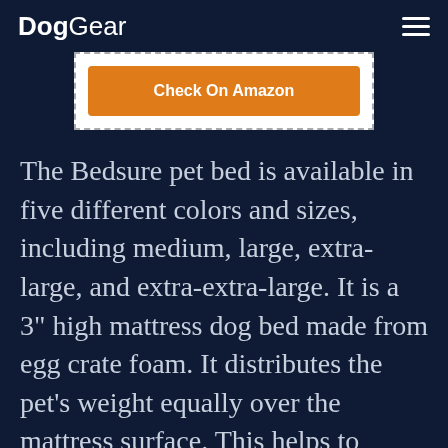DogGear
[Figure (other): Check On Amazon button inside a dashed border container]
The Bedsure pet bed is available in five different colors and sizes, including medium, large, extra-large, and extra-extra-large. It is a 3" high mattress dog bed made from egg crate foam. It distributes the pet's weight equally over the mattress surface. This helps to provide maximum support for dogs and cats of any age and size, but especially older pets.